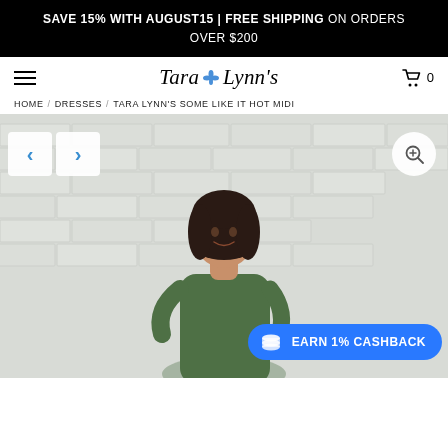SAVE 15% WITH AUGUST15 | FREE SHIPPING ON ORDERS OVER $200
[Figure (logo): Tara Lynn's script logo with blue fleur-de-lis emblem]
HOME / DRESSES / TARA LYNN'S SOME LIKE IT HOT MIDI
[Figure (photo): Woman in green midi dress standing against white brick wall, with navigation arrows and zoom button overlay, and an EARN 1% CASHBACK badge in the bottom right]